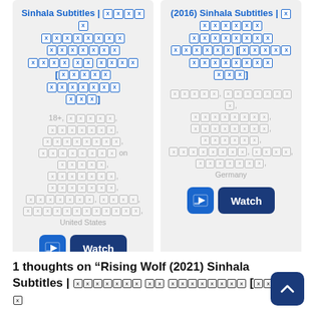Sinhala Subtitles | [Sinhala script] [Sinhala script]
18+, [Sinhala], [Sinhala], [Sinhala], [Sinhala] on [Sinhala], [Sinhala], [Sinhala], [Sinhala], [Sinhala], United States
(2016) Sinhala Subtitles | [Sinhala script] [Sinhala script]
[Sinhala], [Sinhala], [Sinhala], [Sinhala], [Sinhala], [Sinhala], [Sinhala], Germany
1 thoughts on “Rising Wolf (2021) Sinhala Subtitles | [Sinhala script] [Sinhala script]